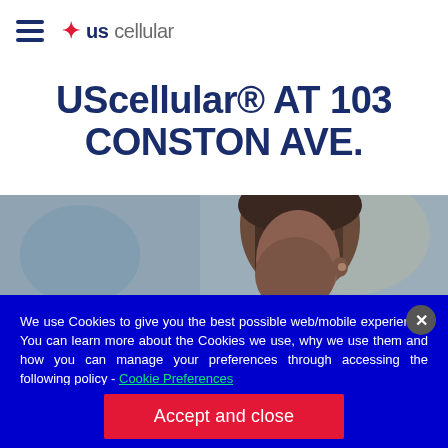USCellular navigation header with hamburger menu and logo
UScellular® AT 103 CONSTON AVE.
[Figure (photo): Woman with braided hair looking down at a phone, blurred outdoor background]
We use Cookies to give you the best possible web/mobile experience. You can learn more about the Cookies we use, why we use them and how you can manage your preferences through accessing the following policy - Cookie Preferences and Policy.
Accept and close